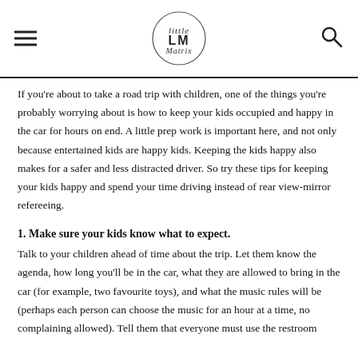LittleMatrix
If you're about to take a road trip with children, one of the things you're probably worrying about is how to keep your kids occupied and happy in the car for hours on end. A little prep work is important here, and not only because entertained kids are happy kids. Keeping the kids happy also makes for a safer and less distracted driver. So try these tips for keeping your kids happy and spend your time driving instead of rear view-mirror refereeing.
1. Make sure your kids know what to expect.
Talk to your children ahead of time about the trip. Let them know the agenda, how long you'll be in the car, what they are allowed to bring in the car (for example, two favourite toys), and what the music rules will be (perhaps each person can choose the music for an hour at a time, no complaining allowed). Tell them that everyone must use the restroom